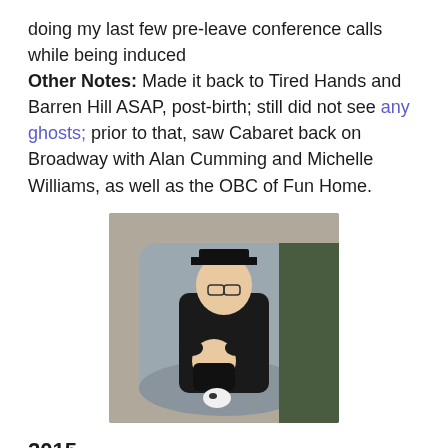doing my last few pre-leave conference calls while being induced
Other Notes: Made it back to Tired Hands and Barren Hill ASAP, post-birth; still did not see any ghosts; prior to that, saw Cabaret back on Broadway with Alan Cumming and Michelle Williams, as well as the OBC of Fun Home.
[Figure (photo): A child wearing a graduation cap and gown sitting in a large gray armchair, holding a baby dressed in black with a pink pacifier.]
2015
Travel: USA – Rehoboth Beach, Seattle
Running: Navy Yard 5K (new 5K PR), another Revolutionary Run, Philly 10K, another ODDyssey